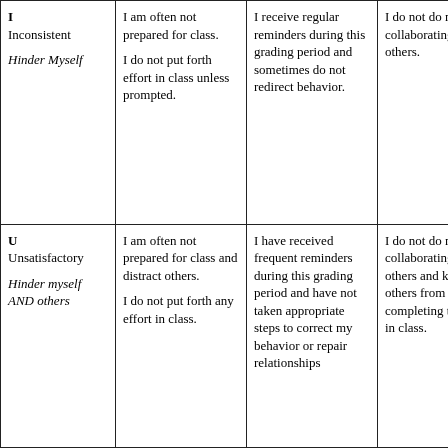| I
Inconsistent

Hinder Myself | I am often not prepared for class.

I do not put forth effort in class unless prompted. | I receive regular reminders during this grading period and sometimes do not redirect behavior. | I do not do my part in collaborating with others. |
| U
Unsatisfactory

Hinder myself AND others | I am often not prepared for class and distract others.

I do not put forth any effort in class. | I have received frequent reminders during this grading period and have not taken appropriate steps to correct my behavior or repair relationships | I do not do my part in collaborating with others and keep others from completing their tasks in class. |